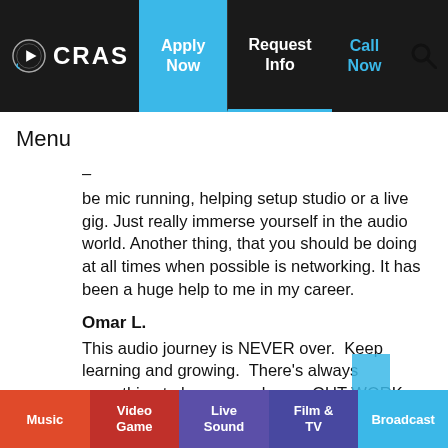CRAS | Apply Now | Request Info | Call Now
Menu
be mic running, helping setup studio or a live gig. Just really immerse yourself in the audio world. Another thing, that you should be doing at all times when possible is networking. It has been a huge help to me in my career.
Omar L.
This audio journey is NEVER over.  Keep learning and growing.  There's always something to learn or re-learn.  OUT WORK EVERYBODY!  Be the first to show up and the last to leave.  Don't complain a
Music | Video Game | Live Sound | Film & TV | Broadcast